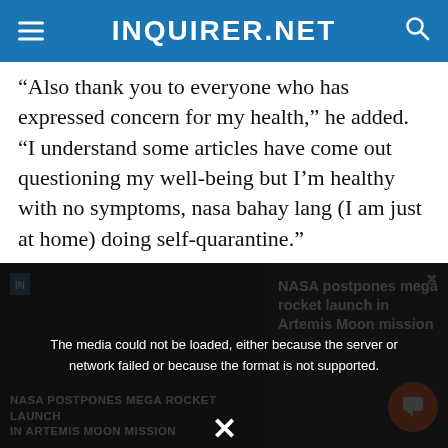INQUIRER.NET
“Also thank you to everyone who has expressed concern for my health,” he added. “I understand some articles have come out questioning my well-being but I’m healthy with no symptoms, nasa bahay lang (I am just at home) doing self-quarantine.”
He then urged his fans to continue praying for
[Figure (screenshot): Video player overlay showing media error message: 'The media could not be loaded, either because the server or network failed or because the format is not supported.' with a video thumbnail of NASA moon mission news story in the background.]
NASA POSTPONES MEGA ROCKET LAUNCH IN ARTEMIS MOON MISSION
NASA postpones mega rocket launch in Artemis Moon mission